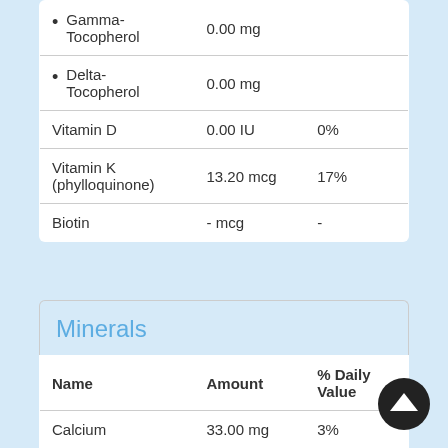| Name | Amount | % Daily Value |
| --- | --- | --- |
| • Gamma-Tocopherol | 0.00 mg |  |
| • Delta-Tocopherol | 0.00 mg |  |
| Vitamin D | 0.00 IU | 0% |
| Vitamin K (phylloquinone) | 13.20 mcg | 17% |
| Biotin | - mcg | - |
Minerals
| Name | Amount | % Daily Value |
| --- | --- | --- |
| Calcium | 33.00 mg | 3% |
| Iron | 0.30 mg | 2% |